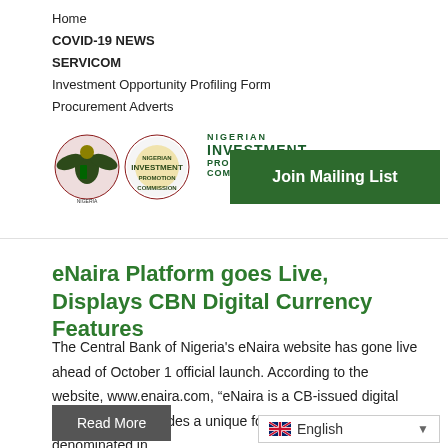Home
COVID-19 NEWS
SERVICOM
Investment Opportunity Profiling Form
Procurement Adverts
[Figure (logo): Nigerian Investment Promotion Commission logo with eagle emblem and green text]
[Figure (other): Join Mailing List green button]
eNaira Platform goes Live, Displays CBN Digital Currency Features
The Central Bank of Nigeria's eNaira website has gone live ahead of October 1 official launch. According to the website, www.enaira.com, “eNaira is a CB‑issued digital currency that provides a unique form of money denominated in…
Read More
English